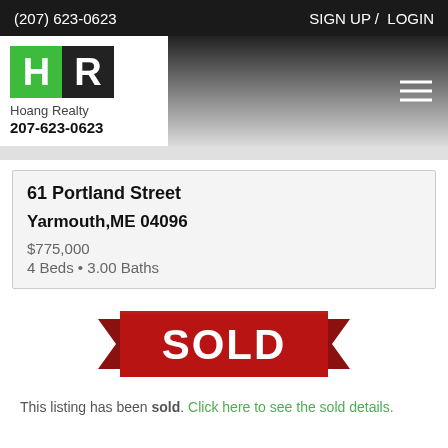(207) 623-0623   SIGN UP / LOGIN
[Figure (logo): Hoang Realty logo with HR monogram (H in green, R in dark), company name and phone number 207-623-0623]
61 Portland Street
Yarmouth,ME 04096
$775,000
4 Beds • 3.00 Baths
[Figure (infographic): Red ribbon banner with bold white text reading SOLD]
This listing has been sold. Click here to see the sold details.